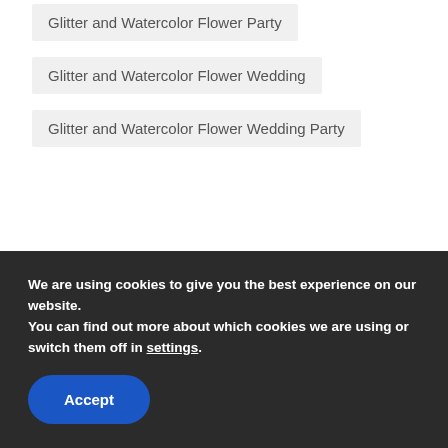Glitter and Watercolor Flower Party
Glitter and Watercolor Flower Wedding
Glitter and Watercolor Flower Wedding Party
We are using cookies to give you the best experience on our website.
You can find out more about which cookies we are using or switch them off in settings.
Accept